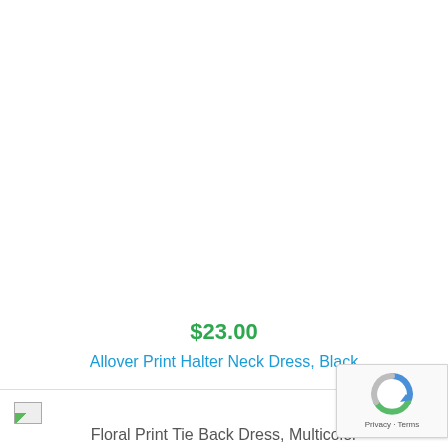[Figure (photo): Product image area (blank/white) for Allover Print Halter Neck Dress, Black]
$23.00
Allover Print Halter Neck Dress, Black
[Figure (photo): Broken/missing product image thumbnail for Floral Print Tie Back Dress, Multicolor]
Floral Print Tie Back Dress, Multicolor